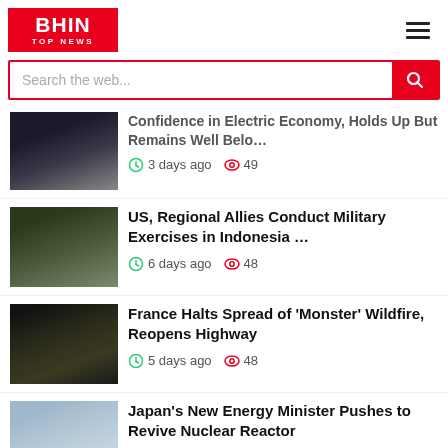[Figure (logo): BHIN Top News logo - red background with white text]
Search the web...
Confidence in Electric Economy, Holds Up But Remains Well Belo…
3 days ago  49
US, Regional Allies Conduct Military Exercises in Indonesia …
6 days ago  48
France Halts Spread of 'Monster' Wildfire, Reopens Highway
5 days ago  48
Japan's New Energy Minister Pushes to Revive Nuclear Reactor